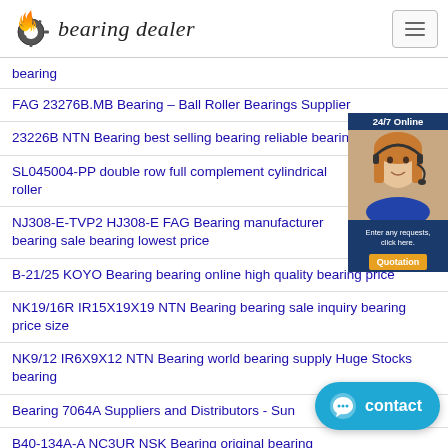[Figure (logo): Bearing dealer logo with flaming gear icon and italic text 'bearing dealer']
bearing
FAG 23276B.MB Bearing – Ball Roller Bearings Supplier
23226B NTN Bearing best selling bearing reliable bearing
SL045004-PP double row full complement cylindrical roller
NJ308-E-TVP2 HJ308-E FAG Bearing manufacturer bearing sale bearing lowest price
B-21/25 KOYO Bearing bearing online high quality bearing price
NK19/16R IR15X19X19 NTN Bearing bearing sale inquiry bearing price size
NK9/12 IR6X9X12 NTN Bearing world bearing supply Huge Stocks bearing
Bearing 7064A Suppliers and Distributors - Sun
B40-134A-A NC3UR NSK Bearing original bearing
[Figure (photo): 24/7 Online customer service panel with woman wearing headset and Quotation button]
[Figure (infographic): Blue contact chat widget button in bottom right corner]